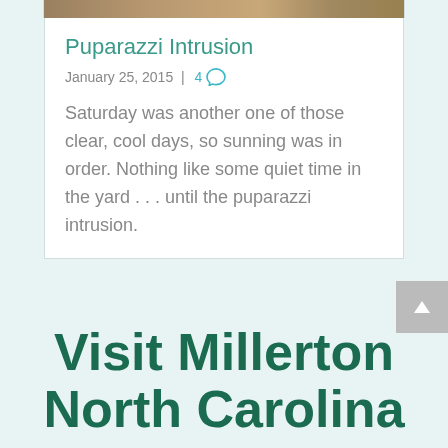[Figure (photo): Top portion of a blog post card showing a partial outdoor/nature photo strip at the top]
Puparazzi Intrusion
January 25, 2015  |  4 💬
Saturday was another one of those clear, cool days, so sunning was in order. Nothing like some quiet time in the yard . . . until the puparazzi intrusion.
Visit Millerton North Carolina